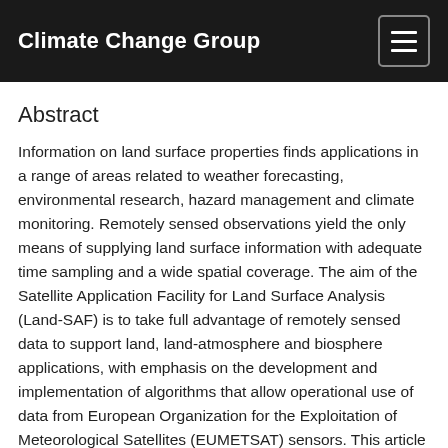Climate Change Group
Abstract
Information on land surface properties finds applications in a range of areas related to weather forecasting, environmental research, hazard management and climate monitoring. Remotely sensed observations yield the only means of supplying land surface information with adequate time sampling and a wide spatial coverage. The aim of the Satellite Application Facility for Land Surface Analysis (Land-SAF) is to take full advantage of remotely sensed data to support land, land-atmosphere and biosphere applications, with emphasis on the development and implementation of algorithms that allow operational use of data from European Organization for the Exploitation of Meteorological Satellites (EUMETSAT) sensors. This article provides an overview of the Land-SAF, with brief descriptions of algorithms and validation results. The set of parameters currently estimated and disseminated by the Land-SAF consists of three main groups: (i) the surface radiation budget, including albedo, land surface temperature, and downward short- and longwave fluxes; (ii) the surface water budget (snow cover and evapotranspiration); and (iii) vegetation and wild fi...